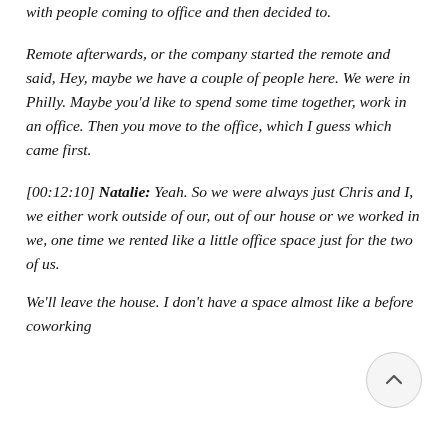with people coming to office and then decided to.
Remote afterwards, or the company started the remote and said, Hey, maybe we have a couple of people here. We were in Philly. Maybe you'd like to spend some time together, work in an office. Then you move to the office, which I guess which came first.
[00:12:10] Natalie: Yeah. So we were always just Chris and I, we either work outside of our, out of our house or we worked in we, one time we rented like a little office space just for the two of us.
We'll leave the house. I don't have a space almost like a before coworking